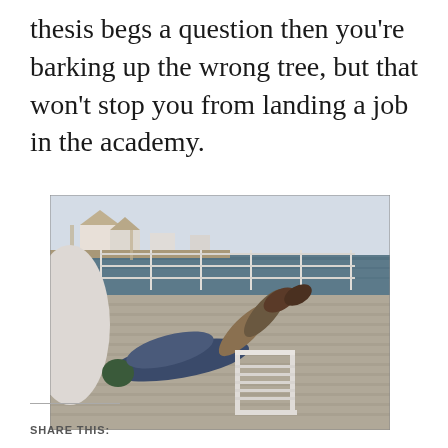thesis begs a question then you're barking up the wrong tree, but that won't stop you from landing a job in the academy.
[Figure (photo): A person lying on a wooden boardwalk deck by a waterfront, with their legs propped up on a white bench/chair. Houses and a dock are visible in the background across the water.]
SHARE THIS: